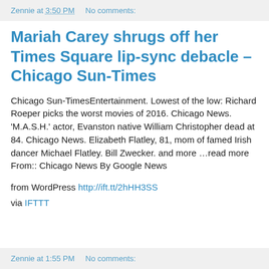Zennie at 3:50 PM    No comments:
Mariah Carey shrugs off her Times Square lip-sync debacle – Chicago Sun-Times
Chicago Sun-TimesEntertainment. Lowest of the low: Richard Roeper picks the worst movies of 2016. Chicago News. 'M.A.S.H.' actor, Evanston native William Christopher dead at 84. Chicago News. Elizabeth Flatley, 81, mom of famed Irish dancer Michael Flatley. Bill Zwecker. and more …read more From:: Chicago News By Google News
from WordPress http://ift.tt/2hHH3SS
via IFTTT
Zennie at 1:55 PM    No comments: